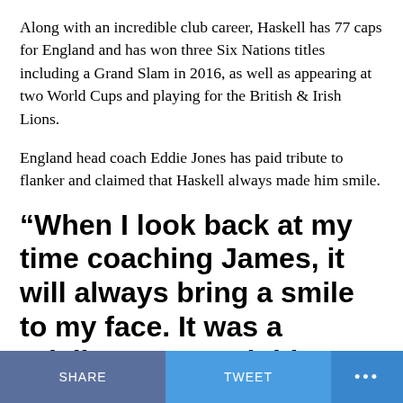Along with an incredible club career, Haskell has 77 caps for England and has won three Six Nations titles including a Grand Slam in 2016, as well as appearing at two World Cups and playing for the British & Irish Lions.
England head coach Eddie Jones has paid tribute to flanker and claimed that Haskell always made him smile.
“When I look back at my time coaching James, it will always bring a smile to my face. It was a privilege to coach him, but also great fun. He’s what I’d describe
SHARE   TWEET   ...